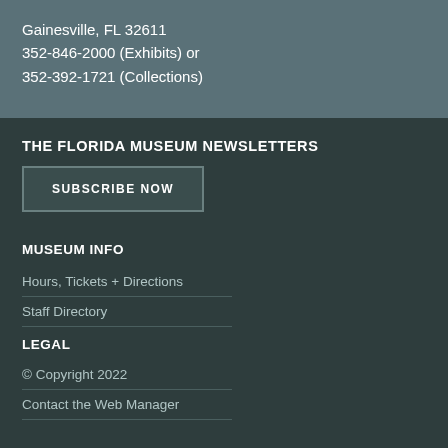Gainesville, FL 32611
352-846-2000 (Exhibits) or
352-392-1721 (Collections)
THE FLORIDA MUSEUM NEWSLETTERS
SUBSCRIBE NOW
MUSEUM INFO
Hours, Tickets + Directions
Staff Directory
LEGAL
© Copyright 2022
Contact the Web Manager